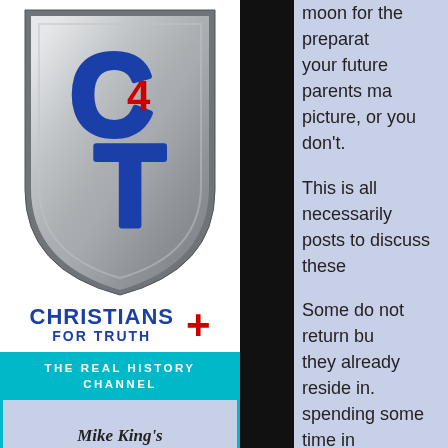[Figure (logo): Christians For Truth shield logo with C4T letters, silver shield design]
CHRISTIANS FOR TRUTH +
THE REAL HISTORY CHANNEL
Mike King's
[Figure (logo): THE REAL banner with tomato/apple logo]
moon for the preparation your future parents ma picture, or you don't.

This is all necessarily posts to discuss these

Some do not return bu they already reside in. spending some time in has reportedly said. Ju the new life following...

There are review boar heard what is stored u town then it is time for whole world away to e world; that which they